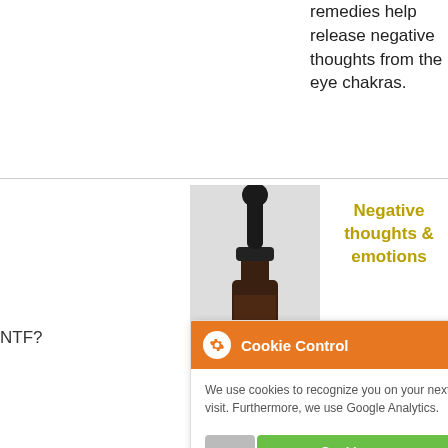remedies help release negative thoughts from the eye chakras.
[Figure (photo): A dark amber glass dropper bottle with a black rubber dropper top, product bottle for a remedy.]
Negative thoughts & emotions
NTF?
[Figure (screenshot): Cookie Control popup overlay with orange header, gear icon, close X button, cookie consent message, toggle bar showing 'Cookies are on', 'about this tool' link.]